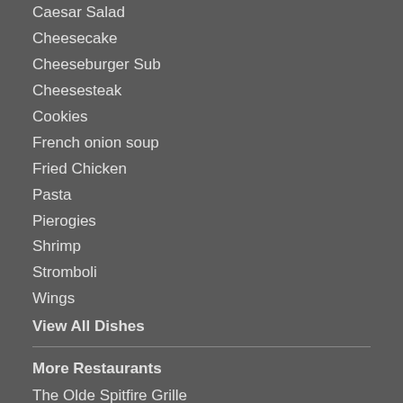Caesar Salad
Cheesecake
Cheeseburger Sub
Cheesesteak
Cookies
French onion soup
Fried Chicken
Pasta
Pierogies
Shrimp
Stromboli
Wings
View All Dishes
More Restaurants
The Olde Spitfire Grille